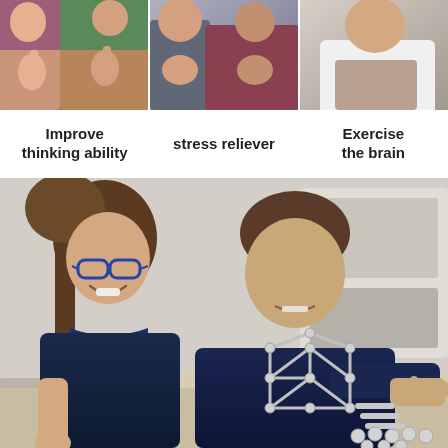[Figure (photo): Three side-by-side photos: left shows two people giving thumbs up, center shows people in conversation, right shows a person in white coat]
Improve thinking ability
stress reliever
Exercise the brain
[Figure (photo): Two teenagers building a magnetic construction toy together at a table, smiling and focused, with metal rods and ball bearings visible]